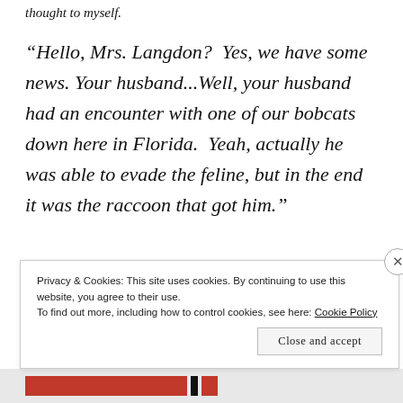thought to myself.
“Hello, Mrs. Langdon?  Yes, we have some news. Your husband...Well, your husband had an encounter with one of our bobcats down here in Florida.  Yeah, actually he was able to evade the feline, but in the end it was the raccoon that got him.”
Privacy & Cookies: This site uses cookies. By continuing to use this website, you agree to their use.
To find out more, including how to control cookies, see here: Cookie Policy
Close and accept